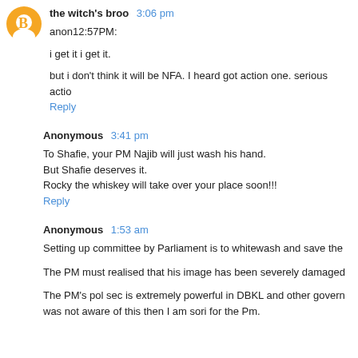the witch's broo  3:06 pm
anon12:57PM:
i get it i get it.
but i don't think it will be NFA. I heard got action one. serious actio
Reply
Anonymous  3:41 pm
To Shafie, your PM Najib will just wash his hand.
But Shafie deserves it.
Rocky the whiskey will take over your place soon!!!
Reply
Anonymous  1:53 am
Setting up committee by Parliament is to whitewash and save the
The PM must realised that his image has been severely damaged
The PM's pol sec is extremely powerful in DBKL and other govern was not aware of this then I am sori for the Pm.